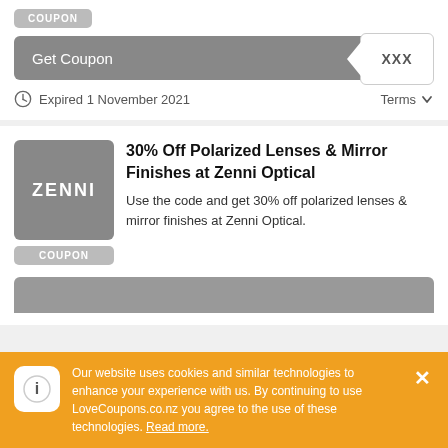[Figure (screenshot): COUPON badge button for a coupon offer]
[Figure (screenshot): Get Coupon bar with obscured code 'XXX' on the right]
Expired 1 November 2021
Terms
[Figure (logo): Zenni Optical logo - grey square with ZENNI text in white]
COUPON
30% Off Polarized Lenses & Mirror Finishes at Zenni Optical
Use the code and get 30% off polarized lenses & mirror finishes at Zenni Optical.
Our website uses cookies and similar technologies to enhance your experience with us. By continuing to use LoveCoupons.co.nz you agree to the use of these technologies. Read more.